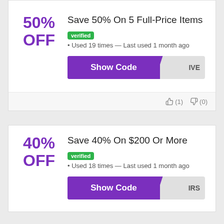50% OFF
Save 50% On 5 Full-Price Items
verified • Used 19 times — Last used 1 month ago
Show Code IVE
👍(1) 👎(0)
40% OFF
Save 40% On $200 Or More
verified • Used 18 times — Last used 1 month ago
Show Code IRS